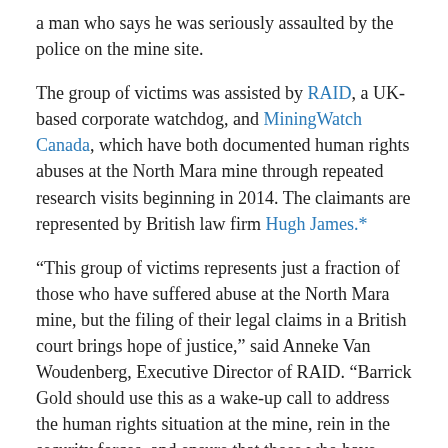a man who says he was seriously assaulted by the police on the mine site.
The group of victims was assisted by RAID, a UK-based corporate watchdog, and MiningWatch Canada, which have both documented human rights abuses at the North Mara mine through repeated research visits beginning in 2014. The claimants are represented by British law firm Hugh James.*
“This group of victims represents just a fraction of those who have suffered abuse at the North Mara mine, but the filing of their legal claims in a British court brings hope of justice,” said Anneke Van Woudenberg, Executive Director of RAID. “Barrick Gold should use this as a wake-up call to address the human rights situation at the mine, rein in the security forces, and ensure that those who have suffered obtain remedy.”